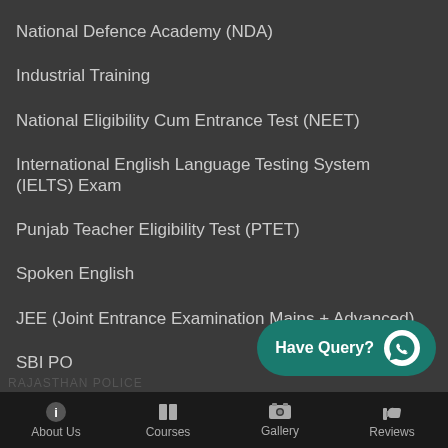National Defence Academy (NDA)
Industrial Training
National Eligibility Cum Entrance Test (NEET)
International English Language Testing System (IELTS) Exam
Punjab Teacher Eligibility Test (PTET)
Spoken English
JEE (Joint Entrance Examination Mains + Advanced)
SBI PO
Railway Exam
Common Admission Test (CAT)
About Us  Courses  Gallery  Reviews